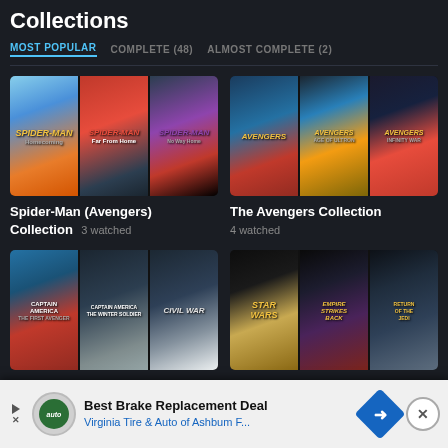Collections
MOST POPULAR   COMPLETE (48)   ALMOST COMPLETE (2)
[Figure (screenshot): Spider-Man movie collection posters: Spider-Man Homecoming, Far From Home, No Way Home]
Spider-Man (Avengers) Collection  3 watched
[Figure (screenshot): Avengers movie collection posters: The Avengers, Age of Ultron, Infinity War]
The Avengers Collection  4 watched
[Figure (screenshot): Captain America movie collection posters: The First Avenger, The Winter Soldier, Civil War]
Captain America Collection
[Figure (screenshot): Star Wars movie collection posters: A New Hope, Empire Strikes Back, Return of the Jedi]
Star Wars Collection
Best Brake Replacement Deal  Virginia Tire & Auto of Ashbum F...